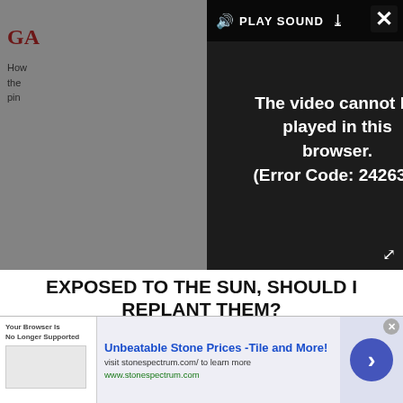[Figure (screenshot): Video player overlay showing error message 'The video cannot be played in this browser. (Error Code: 242632)' with PLAY SOUND button and close/expand controls, overlaid on a webpage about irises and a garden photo.]
EXPOSED TO THE SUN, SHOULD I REPLANT THEM?
Bearded irises develop fat rhizomes that spread steadily at the soil surface. Roots grow down into the soil from underneath the rhizomes and the tops are exposed.
[Figure (screenshot): Advertisement banner: 'Unbeatable Stone Prices -Tile and More!' with visit stonespectrum.com/ to learn more and www.stonespectrum.com, with a browser screenshot thumbnail on the left and a blue arrow button on the right.]